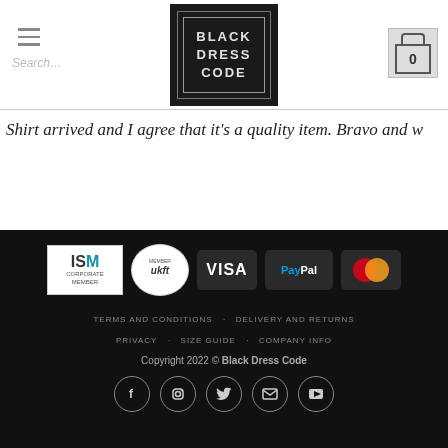[Figure (logo): Black Dress Code logo: dark square with nested border and text BLACK DRESS CODE]
Shirt arrived and I agree that it's a quality item. Bravo and w
[Figure (infographic): Footer with ISM Corporate Member badge, ukft member badge, VISA, PayPal, MasterCard payment icons, navigation links, copyright, and social media icons]
TERMS AND CONDITIONS   DELIVERY AND RETURNS   PRIVACY   SIZE GUIDE   COMPANY INFO   Copyright 2022 © Black Dress Code